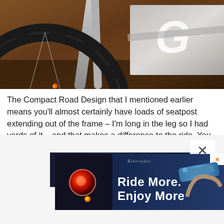[Figure (photo): Close-up photo of a bicycle wheel and fork with a Giant brand logo visible on the frame. Wooden background visible. Orange detail visible near the spokes.]
The Compact Road Design that I mentioned earlier means you'll almost certainly have loads of seatpost extending out of the frame – I'm long in the leg so I had yards of it – and that makes a difference to the ride. You can occasionally feel the post bend just a touch if you accidentally whack the bike into an unseen pothole, for example.
[Figure (screenshot): Overlapping advertisement banners. Background ad shows a partially visible cycling light advertisement. Foreground ad shows 'Ride More. Enjoy More' text with a red cycling light on left and a blue device on right, with Bikeradar Magazine logo at top. An X close button is visible on the front ad.]